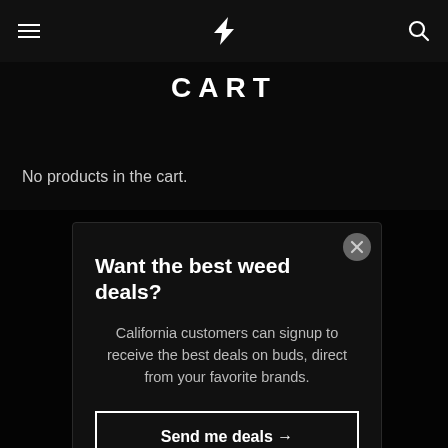CART
CART
No products in the cart.
Want the best weed deals?
California customers can signup to receive the best deals on buds, direct from your favorite brands.
Send me deals →